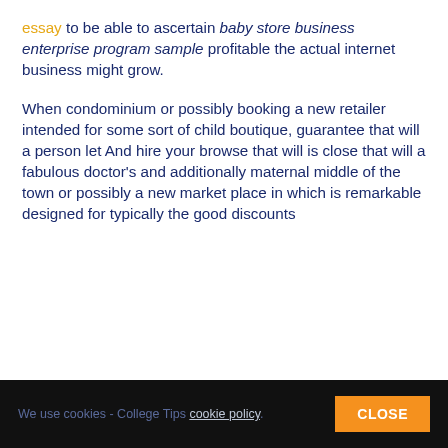essay to be able to ascertain baby store business enterprise program sample profitable the actual internet business might grow.
When condominium or possibly booking a new retailer intended for some sort of child boutique, guarantee that will a person let And hire your browse that will is close that will a fabulous doctor's and additionally maternal middle of the town or possibly a new market place in which is remarkable designed for typically the good discounts
We use cookies - College Tips cookie policy. CLOSE